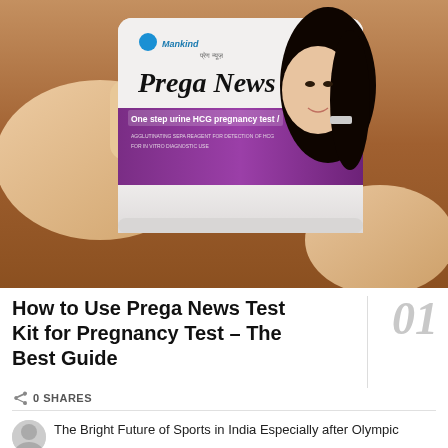[Figure (photo): A hand holding a 'Prega News' pregnancy test kit packet by Mankind. The packet shows 'One step urine HCG pregnancy test' with a woman's face on the right side. Purple branding band across the middle. Placed on a wooden surface.]
How to Use Prega News Test Kit for Pregnancy Test – The Best Guide
0 SHARES
The Bright Future of Sports in India Especially after Olympic